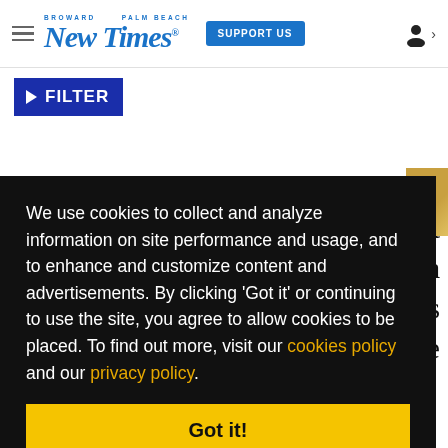Broward Palm Beach New Times — SUPPORT US
▶ FILTER
We use cookies to collect and analyze information on site performance and usage, and to enhance and customize content and advertisements. By clicking 'Got it' or continuing to use the site, you agree to allow cookies to be placed. To find out more, visit our cookies policy and our privacy policy.
Got it!
even the former president of the Independent